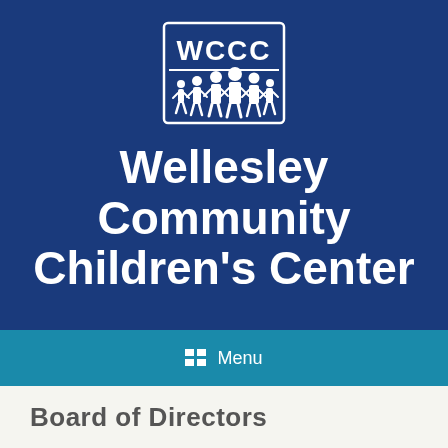[Figure (logo): WCCC logo: white rectangle border with 'WCCC' text at top and silhouette of children figures at bottom, on dark blue background]
Wellesley Community Children's Center
Menu
Board of Directors